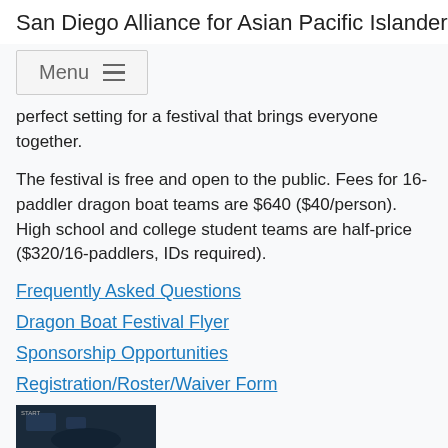San Diego Alliance for Asian Pacific Islander Ame...
perfect setting for a festival that brings everyone together.
The festival is free and open to the public. Fees for 16-paddler dragon boat teams are $640 ($40/person). High school and college student teams are half-price ($320/16-paddlers, IDs required).
Frequently Asked Questions
Dragon Boat Festival Flyer
Sponsorship Opportunities
Registration/Roster/Waiver Form
[Figure (photo): Small thumbnail image of a dragon boat festival aerial or map view, dark background]